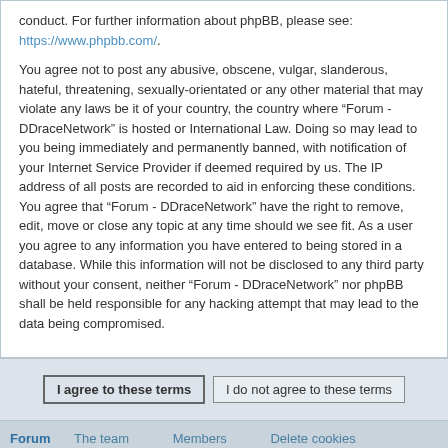conduct. For further information about phpBB, please see: https://www.phpbb.com/.
You agree not to post any abusive, obscene, vulgar, slanderous, hateful, threatening, sexually-orientated or any other material that may violate any laws be it of your country, the country where “Forum - DDraceNetwork” is hosted or International Law. Doing so may lead to you being immediately and permanently banned, with notification of your Internet Service Provider if deemed required by us. The IP address of all posts are recorded to aid in enforcing these conditions. You agree that “Forum - DDraceNetwork” have the right to remove, edit, move or close any topic at any time should we see fit. As a user you agree to any information you have entered to being stored in a database. While this information will not be disclosed to any third party without your consent, neither “Forum - DDraceNetwork” nor phpBB shall be held responsible for any hacking attempt that may lead to the data being compromised.
I agree to these terms | I do not agree to these terms
Forum   The team   Members   Delete cookies   All times are UTC+02:00
Powered by phpBB® Forum Software © phpBB Limited
Privacy | Terms